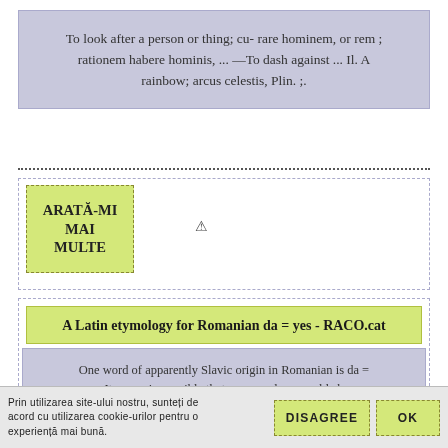To look after a person or thing; cu- rare hominem, or rem ; rationem habere hominis, ... —To dash against ... Il. A rainbow; arcus celestis, Plin. ;.
ARATĂ-MI MAI MULTE
A Latin etymology for Romanian da = yes - RACO.cat
One word of apparently Slavic origin in Romanian is da = yes. It seems impossible that any populace would choose to borrow such a basic.
Prin utilizarea site-ului nostru, sunteți de acord cu utilizarea cookie-urilor pentru o experiență mai bună.
DISAGREE
OK